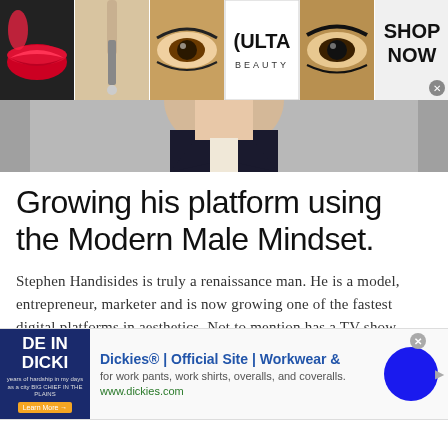[Figure (photo): Advertisement banner for ULTA Beauty showing makeup images: red lips, makeup brush, eye with dramatic makeup, ULTA Beauty logo, eye closeup, and SHOP NOW text with close button]
[Figure (photo): Partial photo of a man in a suit, cropped to show chin/neck area on gray background]
Growing his platform using the Modern Male Mindset.
Stephen Handisides is truly a renaissance man. He is a model, entrepreneur, marketer and is now growing one of the fastest digital platforms in aesthetics. Not to mention has a TV show.
[Figure (screenshot): Advertisement for Dickies showing: blue workwear image on left with text 'DE IN DICKI', then Dickies® | Official Site | Workwear & as headline, 'for work pants, work shirts, overalls, and coveralls.' as description, www.dickies.com as URL, and a blue circle on the right. Has close (x) button and arrow.]